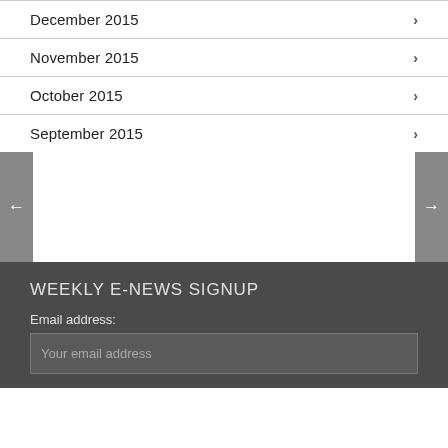December 2015
November 2015
October 2015
September 2015
[Figure (other): Navigation zone with left arrow and right arrow buttons on gray background panels]
WEEKLY E-NEWS SIGNUP
Email address:
Your email address